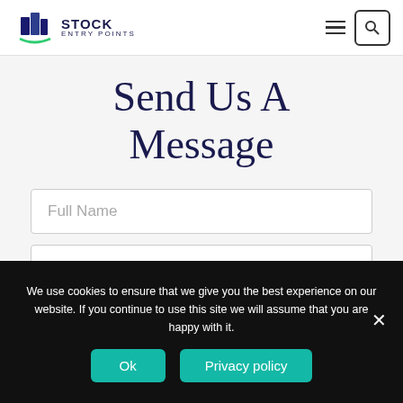[Figure (logo): Stock Entry Points logo with blue building/book icon and green arc underline, text reads STOCK ENTRY POINTS]
Send Us A Message
Full Name
Email
We use cookies to ensure that we give you the best experience on our website. If you continue to use this site we will assume that you are happy with it.
Ok
Privacy policy